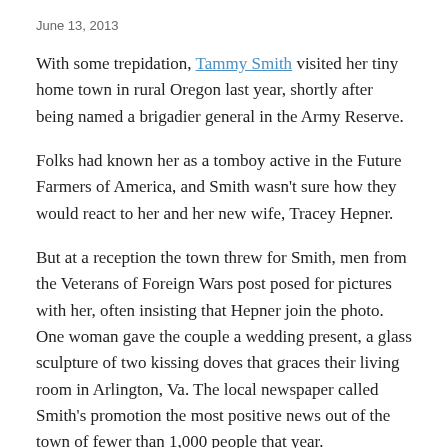June 13, 2013
With some trepidation, Tammy Smith visited her tiny home town in rural Oregon last year, shortly after being named a brigadier general in the Army Reserve.
Folks had known her as a tomboy active in the Future Farmers of America, and Smith wasn't sure how they would react to her and her new wife, Tracey Hepner.
But at a reception the town threw for Smith, men from the Veterans of Foreign Wars post posed for pictures with her, often insisting that Hepner join the photo. One woman gave the couple a wedding present, a glass sculpture of two kissing doves that graces their living room in Arlington, Va. The local newspaper called Smith's promotion the most positive news out of the town of fewer than 1,000 people that year.